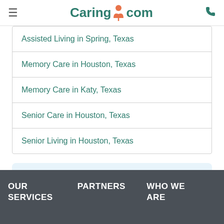Caring.com
Assisted Living in Spring, Texas
Memory Care in Houston, Texas
Memory Care in Katy, Texas
Senior Care in Houston, Texas
Senior Living in Houston, Texas
Business owner? Claim your Caring.com Listing
OUR SERVICES   PARTNERS   WHO WE ARE